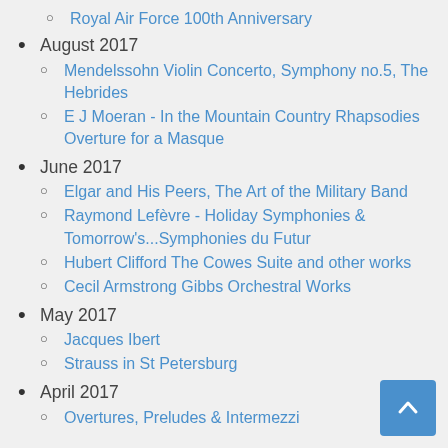Royal Air Force 100th Anniversary
August 2017
Mendelssohn Violin Concerto, Symphony no.5, The Hebrides
E J Moeran - In the Mountain Country Rhapsodies Overture for a Masque
June 2017
Elgar and His Peers, The Art of the Military Band
Raymond Lefèvre - Holiday Symphonies & Tomorrow's...Symphonies du Futur
Hubert Clifford The Cowes Suite and other works
Cecil Armstrong Gibbs Orchestral Works
May 2017
Jacques Ibert
Strauss in St Petersburg
April 2017
Overtures, Preludes & Intermezzi